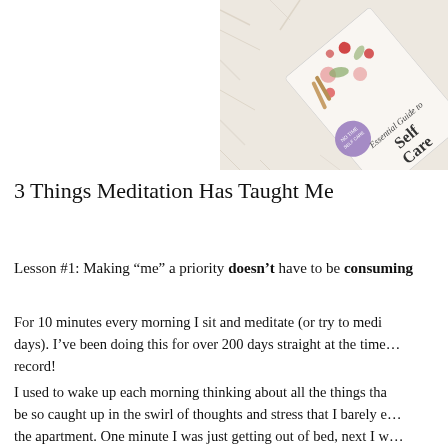[Figure (photo): A book titled 'Essential Guide to Self Care' with floral decorations on a fluffy white background, photographed from above at an angle.]
3 Things Meditation Has Taught Me
Lesson #1: Making “me” a priority doesn’t have to be consuming
For 10 minutes every morning I sit and meditate (or try to meditate some days). I’ve been doing this for over 200 days straight at the time of writing—record!
I used to wake up each morning thinking about all the things that… be so caught up in the swirl of thoughts and stress that I barely e… the apartment. One minute I was just getting out of bed, next I w… happened in between was a blur.